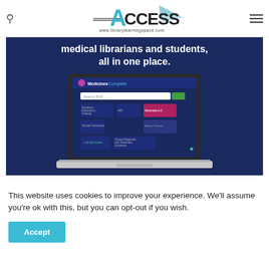ACCESS www.librarylearningspace.com
[Figure (screenshot): Screenshot of a webpage showing a laptop displaying MedicinesComplete interface on a dark navy blue background with text 'medical librarians and students, all in one place.']
This website uses cookies to improve your experience. We'll assume you're ok with this, but you can opt-out if you wish.
Accept